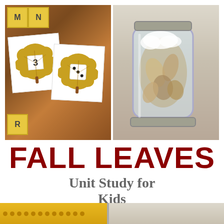[Figure (photo): Two-panel photo collage. Left panel: leaf-shaped number/dice matching cards (showing '3' and a dice showing 3 dots) on a wooden table surface with yellow letter tiles M, N, R visible. Right panel: a glass mason jar filled with water, leaves, and white fluffy material (cotton clouds), sitting on a wooden surface.]
FALL LEAVES Unit Study for Kids
[Figure (photo): Bottom strip showing partial images — left side shows orange/yellow dotted strip, right side partially visible.]